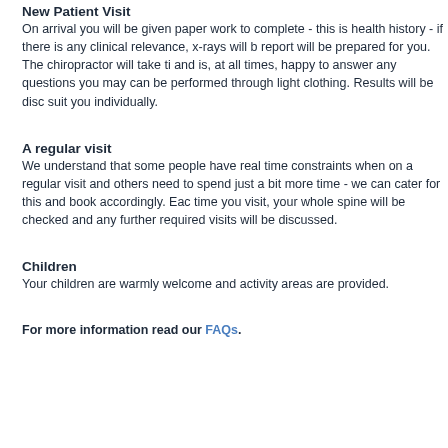New Patient Visit
On arrival you will be given paper work to complete - this is health history - if there is any clinical relevance, x-rays will b report will be prepared for you. The chiropractor will take ti and is, at all times, happy to answer any questions you may can be performed through light clothing. Results will be disc suit you individually.
A regular visit
We understand that some people have real time constraints when on a regular visit and others need to spend just a bit more time - we can cater for this and book accordingly. Ea time you visit, your whole spine will be checked and any further required visits will be discussed.
Children
Your children are warmly welcome and activity areas are provided.
For more information read our FAQs.